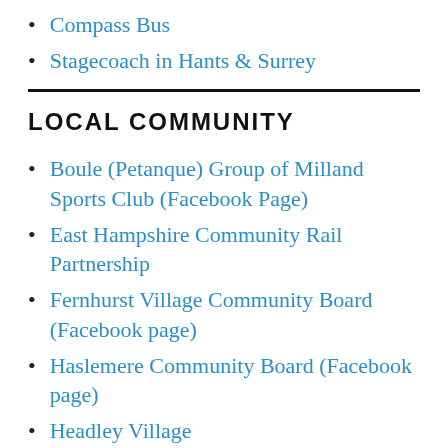Compass Bus
Stagecoach in Hants & Surrey
LOCAL COMMUNITY
Boule (Petanque) Group of Milland Sports Club (Facebook Page)
East Hampshire Community Rail Partnership
Fernhurst Village Community Board (Facebook page)
Haslemere Community Board (Facebook page)
Headley Village
Hollycombe Primary School
Hollycombe Steam Collection